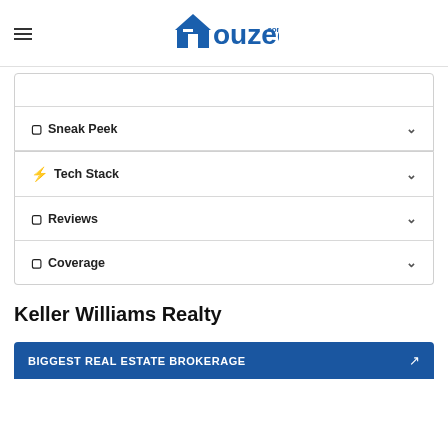Houzeo.com
Sneak Peek
Tech Stack
Reviews
Coverage
Keller Williams Realty
BIGGEST REAL ESTATE BROKERAGE